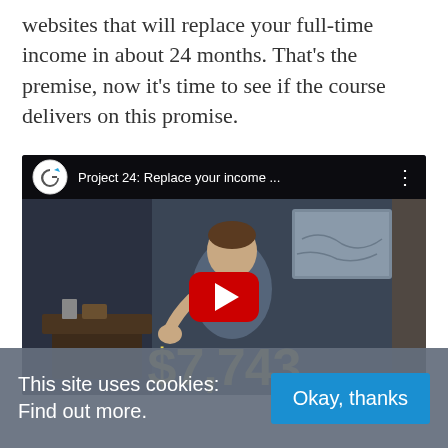websites that will replace your full-time income in about 24 months. That's the premise, now it's time to see if the course delivers on this promise.
[Figure (screenshot): YouTube video embed thumbnail showing a man speaking, with '$7,743' displayed in large yellow text at the bottom. Video title: 'Project 24: Replace your income ...'. A red YouTube play button is centered on the video.]
This site uses cookies: Find out more.